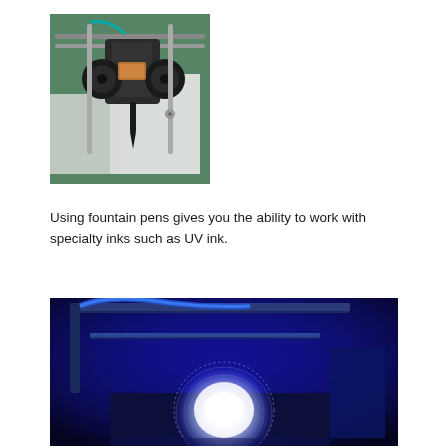[Figure (photo): A fountain pen attached to a mechanical plotter/drawing machine on a green cutting mat surface. The pen holder assembly is made of dark plastic parts with metal rods.]
Using fountain pens gives you the ability to work with specialty inks such as UV ink.
[Figure (photo): A plotter/drawing machine illuminated by blue UV light, showing a glowing white circular pattern drawn with UV ink on paper. The machine frame and rails are visible in the dark background.]